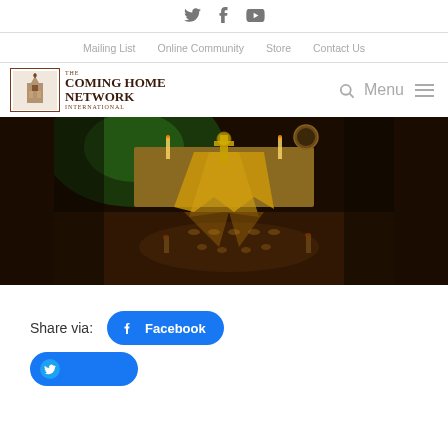Twitter  Facebook  YouTube
Mailing List  Online Community  Store  Contact Us
[Figure (logo): The Coming Home Network International logo — rectangular border containing cathedral illustration with text]
Menu
[Figure (photo): An altar or prayer space scene with candles arranged in a cross pattern on the floor, golden fabric draped over a table, green lighting in the background, dark atmospheric setting]
Share via:
Facebook
(partial button visible at bottom)